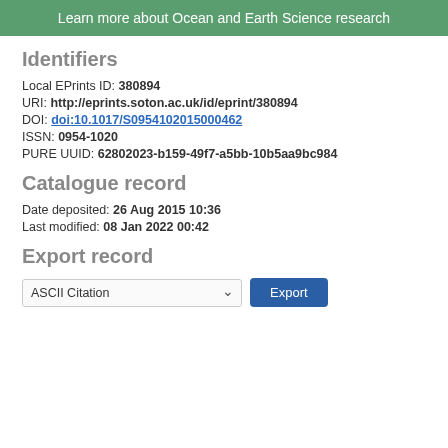Learn more about Ocean and Earth Science research
Identifiers
Local EPrints ID: 380894
URI: http://eprints.soton.ac.uk/id/eprint/380894
DOI: doi:10.1017/S0954102015000462
ISSN: 0954-1020
PURE UUID: 62802023-b159-49f7-a5bb-10b5aa9bc984
Catalogue record
Date deposited: 26 Aug 2015 10:36
Last modified: 08 Jan 2022 00:42
Export record
ASCII Citation  Export